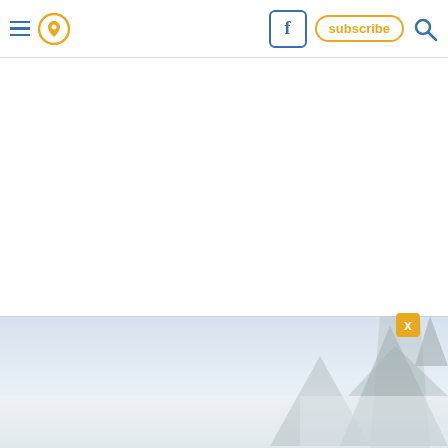Navigation header with hamburger menu, location pin icon, Facebook button, subscribe button, and search icon
Before you know it, you'll be bordering the iconic Samish Bay ...
[Figure (photo): Winter landscape with evergreen trees in fog/mist, light blue-grey sky, snowy or misty conditions. Trees visible on right side of image.]